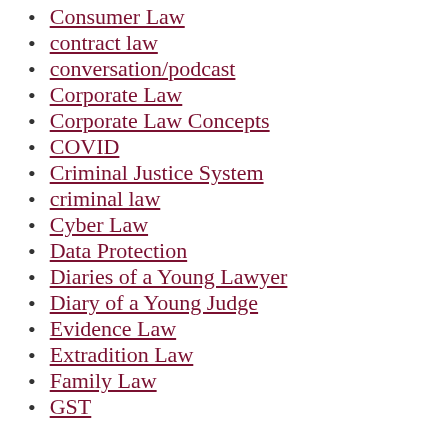Consumer Law
contract law
conversation/podcast
Corporate Law
Corporate Law Concepts
COVID
Criminal Justice System
criminal law
Cyber Law
Data Protection
Diaries of a Young Lawyer
Diary of a Young Judge
Evidence Law
Extradition Law
Family Law
GST